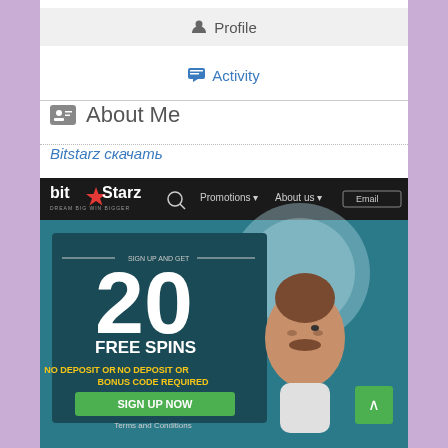Profile
Activity
About Me
Bitstarz скачать
[Figure (screenshot): BitStarz casino website screenshot showing 'Sign up and get 20 Free Spins - No Deposit or Bonus Code Required - Sign Up Now' promotional banner with a cartoon character]